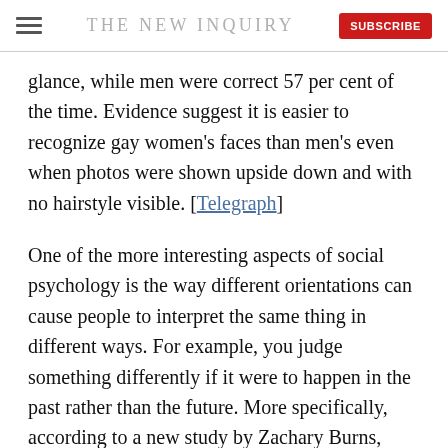THE NEW INQUIRY
glance, while men were correct 57 per cent of the time. Evidence suggest it is easier to recognize gay women's faces than men's even when photos were shown upside down and with no hairstyle visible. [Telegraph]
One of the more interesting aspects of social psychology is the way different orientations can cause people to interpret the same thing in different ways. For example, you judge something differently if it were to happen in the past rather than the future. More specifically, according to a new study by Zachary Burns, Eugene Caruso, and Daniel Bartels, we tend to view future actions as more intentional than past